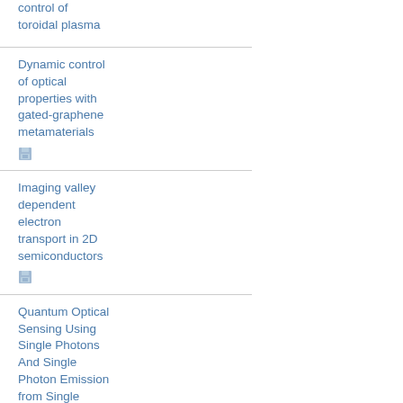control of toroidal plasma
Dynamic control of optical properties with gated-graphene metamaterials
Imaging valley dependent electron transport in 2D semiconductors
Quantum Optical Sensing Using Single Photons And Single Photon Emission from Single Emitters
Quantum Optical Sensing Using